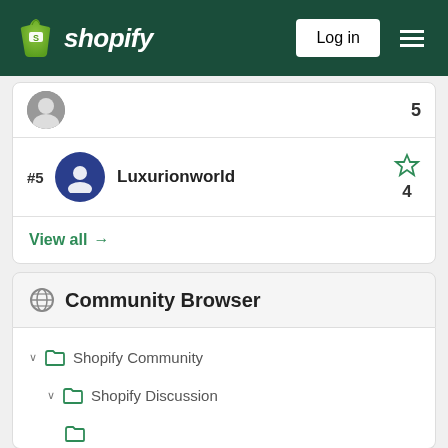[Figure (screenshot): Shopify website header with logo, Log in button, and hamburger menu on dark green background]
#5 Luxurionworld - 4 stars
View all →
Community Browser
Shopify Community
Shopify Discussion